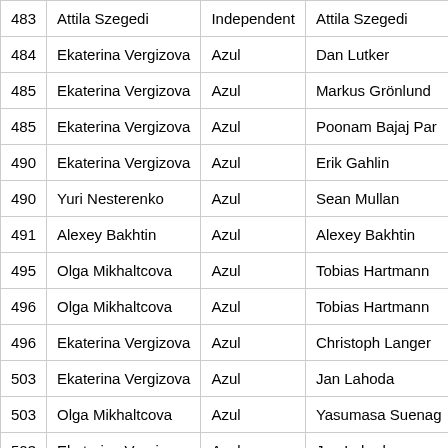| 483 | Attila Szegedi | Independent | Attila Szegedi |
| 484 | Ekaterina Vergizova | Azul | Dan Lutker |
| 485 | Ekaterina Vergizova | Azul | Markus Grönlund |
| 485 | Ekaterina Vergizova | Azul | Poonam Bajaj Par |
| 490 | Ekaterina Vergizova | Azul | Erik Gahlin |
| 490 | Yuri Nesterenko | Azul | Sean Mullan |
| 491 | Alexey Bakhtin | Azul | Alexey Bakhtin |
| 495 | Olga Mikhaltcova | Azul | Tobias Hartmann |
| 496 | Olga Mikhaltcova | Azul | Tobias Hartmann |
| 496 | Ekaterina Vergizova | Azul | Christoph Langer |
| 503 | Ekaterina Vergizova | Azul | Jan Lahoda |
| 503 | Olga Mikhaltcova | Azul | Yasumasa Suenag |
| 503 | Ekaterina Vergizova | Azul | Jan Lahoda |
| 503 | Yuri Nesterenko | Azul | Rajan Halade |
| 503 | Yuri Nesterenko | Azul | Rajan Halade |
| 504 | Ekaterina Vergizova | Azul | Poonam Bajaj... |